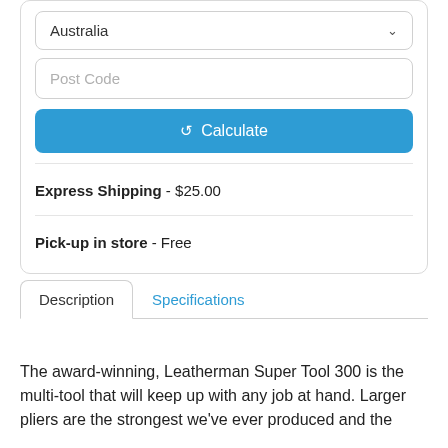Australia
Post Code
Calculate
Express Shipping - $25.00
Pick-up in store - Free
Description
Specifications
The award-winning, Leatherman Super Tool 300 is the multi-tool that will keep up with any job at hand. Larger pliers are the strongest we've ever produced and the